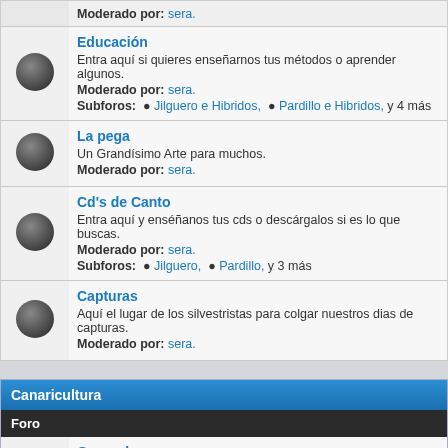Educación - Entra aquí si quieres enseñarnos tus métodos o aprender algunos. Moderado por: sera. Subforos: Jilguero e Hibridos, Pardillo e Hibridos, y 4 más
La pega - Un Grandísimo Arte para muchos. Moderado por: sera.
Cd's de Canto - Entra aquí y enséñanos tus cds o descárgalos si es lo que buscas. Moderado por: sera. Subforos: Jilguero, Pardillo, y 3 más
Capturas - Aquí el lugar de los silvestristas para colgar nuestros dias de capturas. Moderado por: sera.
Canaricultura
Foro
General - Hablemos de la canaricultura en general, es un tema muy extenso.